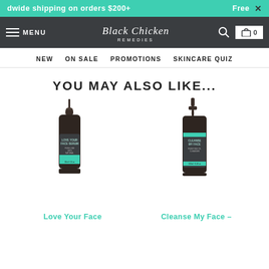dwide shipping on orders $200+   Free ×
[Figure (screenshot): Black Chicken Remedies navigation bar with menu icon, logo, search icon, and cart icon showing 0 items]
NEW   ON SALE   PROMOTIONS   SKINCARE QUIZ
YOU MAY ALSO LIKE...
[Figure (photo): Love Your Face Serum product bottle - dark amber dropper bottle with teal label]
Love Your Face
[Figure (photo): Cleanse My Face product bottle - dark pump bottle with teal label]
Cleanse My Face –